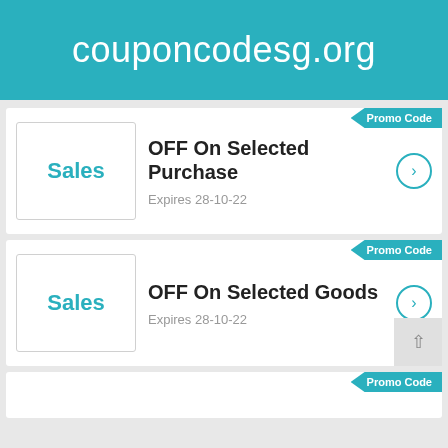couponcodesg.org
Promo Code
Sales
OFF On Selected Purchase
Expires 28-10-22
Promo Code
Sales
OFF On Selected Goods
Expires 28-10-22
Promo Code